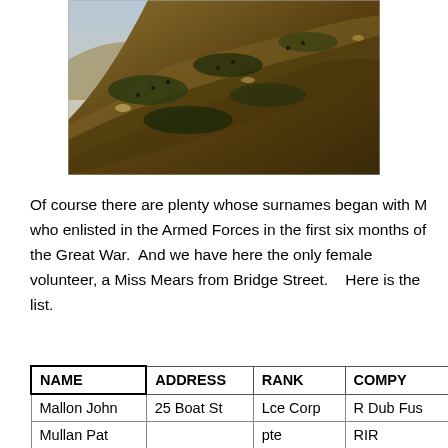[Figure (photo): Landscape painting or photograph of a hillside or mountainous terrain with earthy brown and green tones, showing troops or figures on a battlefield slope.]
Of course there are plenty whose surnames began with M who enlisted in the Armed Forces in the first six months of the Great War.  And we have here the only female volunteer, a Miss Mears from Bridge Street.   Here is the list.
| NAME | ADDRESS | RANK | COMPY |
| --- | --- | --- | --- |
| Mallon John | 25 Boat St | Lce Corp | R Dub Fus |
| Mullan Pat |  | pte | RIR |